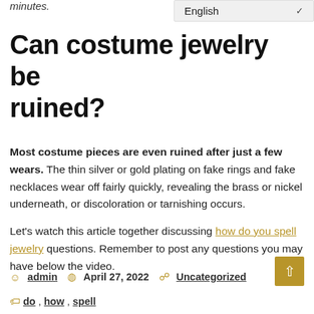minutes.
[Figure (screenshot): Language selector dropdown showing 'English' with a chevron/dropdown arrow]
Can costume jewelry be ruined?
Most costume pieces are even ruined after just a few wears. The thin silver or gold plating on fake rings and fake necklaces wear off fairly quickly, revealing the brass or nickel underneath, or discoloration or tarnishing occurs.
Let's watch this article together discussing how do you spell jewelry questions. Remember to post any questions you may have below the video.
admin  April 27, 2022  Uncategorized  do, how, spell